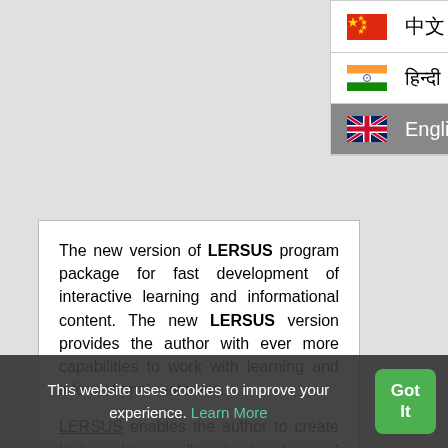[Figure (screenshot): Language selector dropdown showing three options: Chinese (中文) with Chinese flag, Hindi (हिन्दी) with Indian flag, and English with UK flag (currently selected/highlighted in grey)]
The new version of LERSUS program package for fast development of interactive learning and informational content. The new LERSUS version provides the author with ever more capabilities to work with learning and informational materials.

LERSUS enables the author to create high-quality, well structured, and interactive content using the convenient, instinctively understandable, and functional e...
This website uses cookies to improve your experience. Learn More
Got It